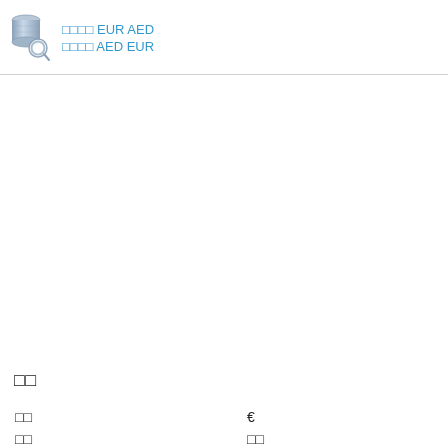[Figure (other): Database/search icon — cylindrical database with magnifying glass overlay, grey and silver tones]
□□□□ EUR AED
□□□□ AED EUR
□□
| □□ | € |
| □□ | □□ |